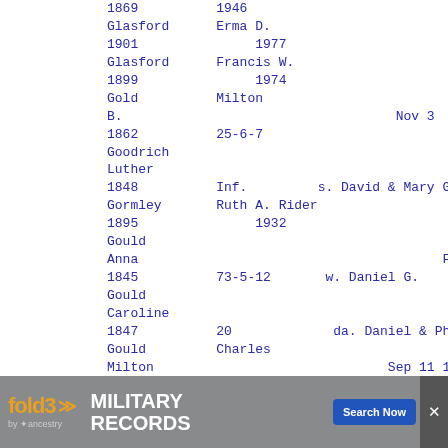1869          1946
Glasford      Erma D.
1901               1977
Glasford      Francis W.
1899               1974
Gold          Milton
B.                                   Nov 3
1862          25-6-7
Goodrich
Luther                                          Apr 6
1848          Inf.         s. David & Mary Goodrich
Gormley       Ruth A. Rider
1895               1932
Gould
Anna                                       Feb 20
1845          73-5-12       w. Daniel G.
Gould
Caroline                                    Sep 18
1847          20             da. Daniel & Phebe
Gould         Charles
Milton                              Sep 11 1865
3             s. M.B. & L.A.
Gould
Daniel                                      Mar 19
1846          52-5-22
Gould         Daniel
G.                              Feb 11
185[x]
Gou[ld]
181[x]